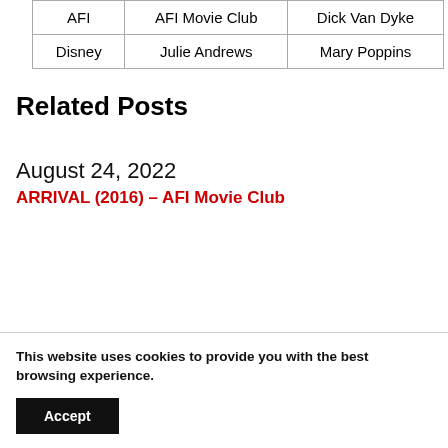| AFI | AFI Movie Club | Dick Van Dyke |
| Disney | Julie Andrews | Mary Poppins |
Related Posts
August 24, 2022
ARRIVAL (2016) – AFI Movie Club
This website uses cookies to provide you with the best browsing experience.